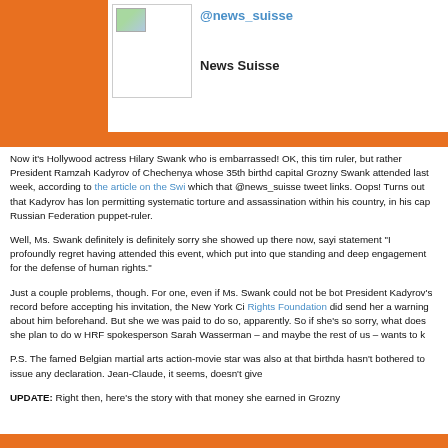[Figure (screenshot): Twitter/social media profile box showing @news_suisse handle in blue and 'News Suisse' display name, with small avatar image, on orange background]
Now it's Hollywood actress Hilary Swank who is embarrassed! OK, this time it's not a ruler, but rather President Ramzah Kadyrov of Chechenya whose 35th birthday party in capital Grozny Swank attended last week, according to the article on the Swi... which that @news_suisse tweet links. Oops! Turns out that Kadyrov has long been permitting systematic torture and assassination within his country, in his capa... Russian Federation puppet-ruler.
Well, Ms. Swank definitely is definitely sorry she showed up there now, sayi... statement "I profoundly regret having attended this event, which put into que... standing and deep engagement for the defense of human rights."
Just a couple problems, though. For one, even if Ms. Swank could not be bot... President Kadyrov's record before accepting his invitation, the New York Ci... Rights Foundation did send her a warning about him beforehand. But she we... was paid to do so, apparently. So if she's so sorry, what does she plan to do w... HRF spokesperson Sarah Wasserman – and maybe the rest of us – wants to k...
P.S. The famed Belgian martial arts action-movie star was also at that birthda... hasn't bothered to issue any declaration. Jean-Claude, it seems, doesn't give...
UPDATE: Right then, here's the story with that money she earned in Grozny...